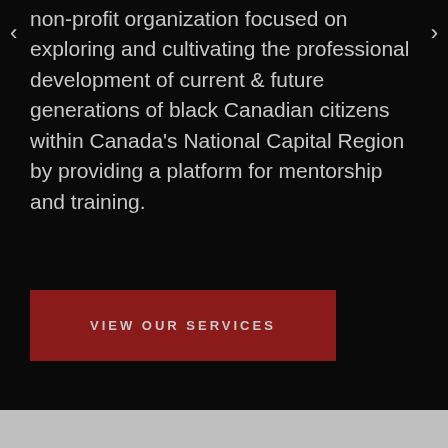non-profit organization focused on exploring and cultivating the professional development of current & future generations of black Canadian citizens within Canada's National Capital Region by providing a platform for mentorship and training.
VIEW OUR SERVICES